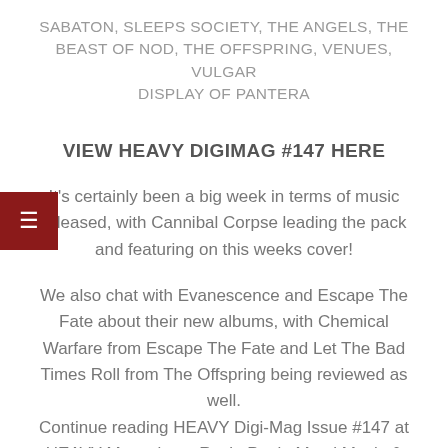SABATON, SLEEPS SOCIETY, THE ANGELS, THE BEAST OF NOD, THE OFFSPRING, VENUES, VULGAR DISPLAY OF PANTERA
VIEW HEAVY DIGIMAG #147 HERE
It's certainly been a big week in terms of music released, with Cannibal Corpse leading the pack and featuring on this weeks cover!
We also chat with Evanescence and Escape The Fate about their new albums, with Chemical Warfare from Escape The Fate and Let The Bad Times Roll from The Offspring being reviewed as well.
Continue reading HEAVY Digi-Mag Issue #147 at HEAVY Magazine – Rock, Punk, Metal Music & Beyond. …